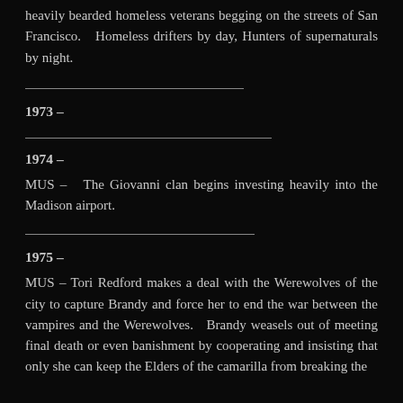heavily bearded homeless veterans begging on the streets of San Francisco.  Homeless drifters by day, Hunters of supernaturals by night.
1973 –
1974 –
MUS –  The Giovanni clan begins investing heavily into the Madison airport.
1975 –
MUS – Tori Redford makes a deal with the Werewolves of the city to capture Brandy and force her to end the war between the vampires and the Werewolves.  Brandy weasels out of meeting final death or even banishment by cooperating and insisting that only she can keep the Elders of the camarilla from breaking the